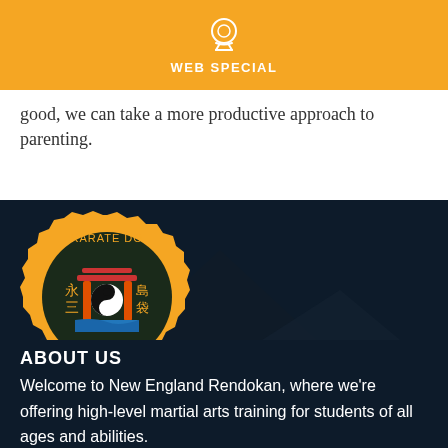WEB SPECIAL
good, we can take a more productive approach to parenting.
[Figure (logo): New England Rendokan Karate Do Shorin Ryu badge logo — orange/yellow octagonal badge with red torii gate, Japanese characters, and yin-yang symbol]
New England Rendokan
A Foundation of Strength, Leads to a Future of Confidence.™
ABOUT US
Welcome to New England Rendokan, where we're offering high-level martial arts training for students of all ages and abilities.